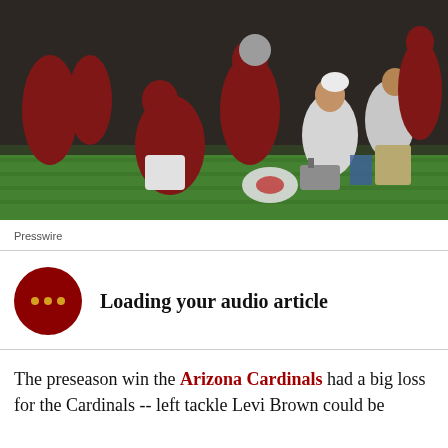[Figure (photo): Arizona Cardinals football players and medical staff gathered around an injured player on the field during a preseason game. Players are wearing red Cardinals uniforms. Medical staff in white shirts are attending to the player on the ground.]
Presswire
Loading your audio article
The preseason win the Arizona Cardinals had a big loss for the Cardinals -- left tackle Levi Brown could be